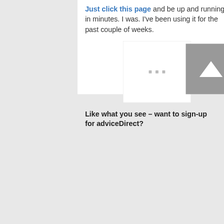Just click this page and be up and running in minutes. I was. I've been using it for the past couple of weeks.
[Figure (other): Advertisement placeholder with three small gray squares centered in a white box]
Like what you see – want to sign-up for adviceDirect?